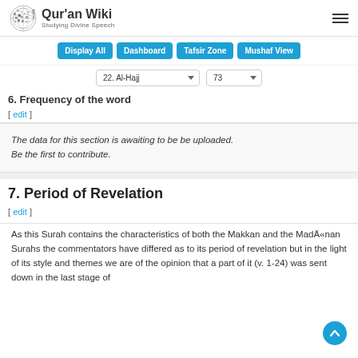Qur'an Wiki — Studying Divine Speech
Display All | Dashboard | Tafsir Zone | Mushaf View
22. Al-Hajj | 73
6. Frequency of the word [ edit ]
The data for this section is awaiting to be be uploaded. Be the first to contribute.
7. Period of Revelation [ edit ]
As this Surah contains the characteristics of both the Makkan and the Madänan Surahs the commentators have differed as to its period of revelation but in the light of its style and themes we are of the opinion that a part of it (v. 1-24) was sent down in the last stage of